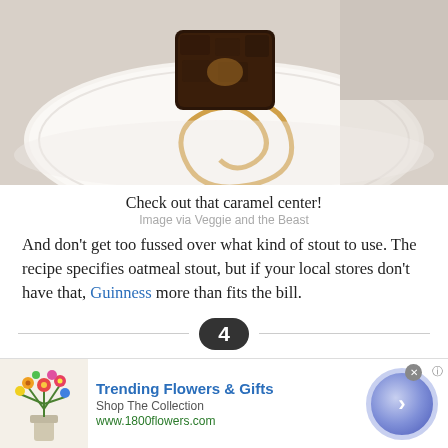[Figure (photo): Close-up photo of a chocolate brownie on a white plate with caramel sauce drizzled in a circular pattern]
Check out that caramel center!
Image via Veggie and the Beast
And don't get too fussed over what kind of stout to use. The recipe specifies oatmeal stout, but if your local stores don't have that, Guinness more than fits the bill.
4
Guinness Ice Cream Floats
This might the easiest of all Irish-themed desserts to make—you
[Figure (screenshot): Advertisement banner for 1800Flowers.com - Trending Flowers & Gifts, Shop The Collection]